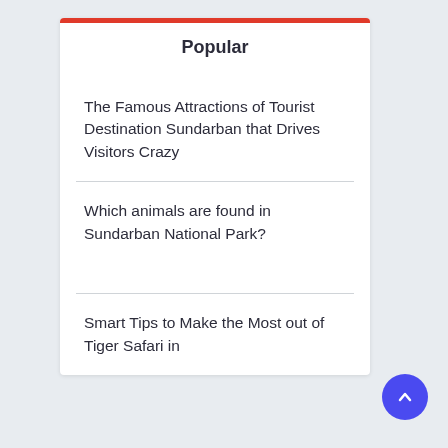Popular
The Famous Attractions of Tourist Destination Sundarban that Drives Visitors Crazy
Which animals are found in Sundarban National Park?
Smart Tips to Make the Most out of Tiger Safari in